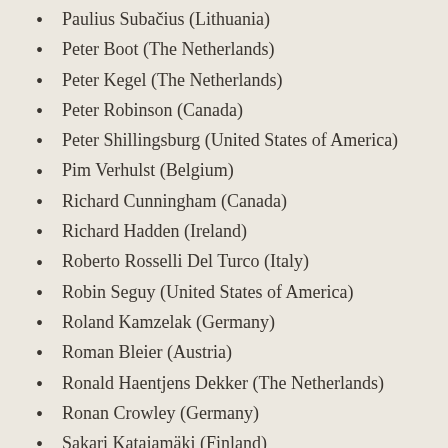Paulius Subačius (Lithuania)
Peter Boot (The Netherlands)
Peter Kegel (The Netherlands)
Peter Robinson (Canada)
Peter Shillingsburg (United States of America)
Pim Verhulst (Belgium)
Richard Cunningham (Canada)
Richard Hadden (Ireland)
Roberto Rosselli Del Turco (Italy)
Robin Seguy (United States of America)
Roland Kamzelak (Germany)
Roman Bleier (Austria)
Ronald Haentjens Dekker (The Netherlands)
Ronan Crowley (Germany)
Sakari Katajamäki (Finland)
Sara Norja (Finland)
Sebastian Köhler (Finland)
Sheryl E. MacDonald Werronen (Denmark)
Stéphane Polis (Belgium)